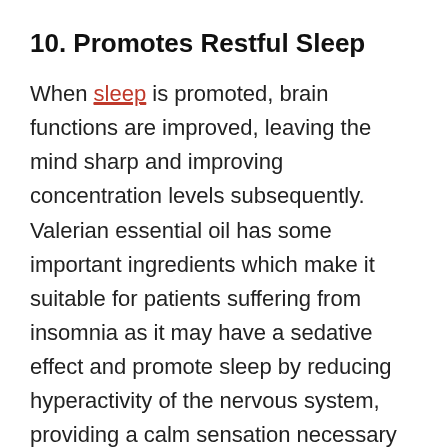10. Promotes Restful Sleep
When sleep is promoted, brain functions are improved, leaving the mind sharp and improving concentration levels subsequently. Valerian essential oil has some important ingredients which make it suitable for patients suffering from insomnia as it may have a sedative effect and promote sleep by reducing hyperactivity of the nervous system, providing a calm sensation necessary for sleep. For better results, this essential oil may be added to a diffuser or even taken orally if a stronger boost is needed.
11. May Promote Faster Healing